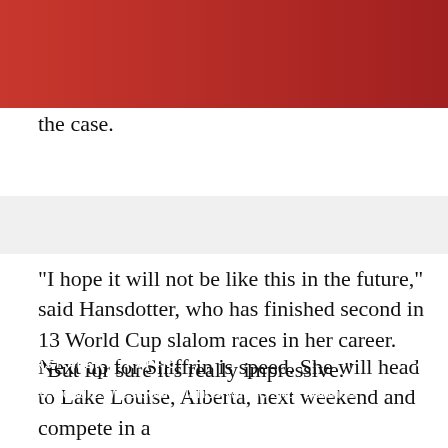Part of her dominance this weekend may have been she's skiing on such familiar snow. At least, Hansdotter is hoping that's the case.
"I hope it will not be like this in the future," said Hansdotter, who has finished second in 13 World Cup slalom races in her career. "But for sure it's really impressive."
Next up for Shiffrin is speed. She will head to Lake Louise, Alberta, next weekend and compete in a
FIRST ALERT TRAFFIC
I-70 closure: westbound lanes will be shut down in Denver area this weekend